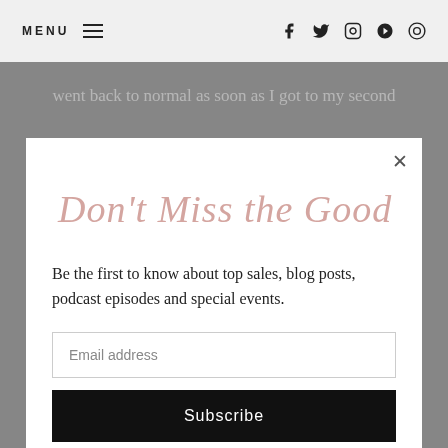MENU  f  t  (instagram)  (pinterest)  (youtube)
went back to normal as soon as I got to my second
[Figure (screenshot): Email newsletter signup modal popup with handwritten-style script heading 'Don't Miss the Good Stuff', description text, email input field, and Subscribe button]
Nausea, Food, and Appetite
1st Trimester: OH man. Probably the worst part of weeks 9-16 for me because of nausea. I never